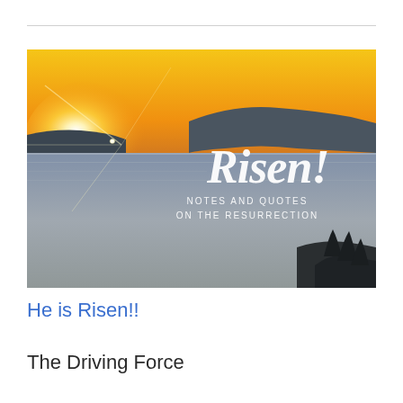[Figure (photo): Sunrise or sunset over a lake or sea with hills in the background. Warm golden and orange sky. Text overlay in white script reads 'Risen!' with subtitle 'NOTES AND QUOTES ON THE RESURRECTION'.]
He is Risen!!
The Driving Force